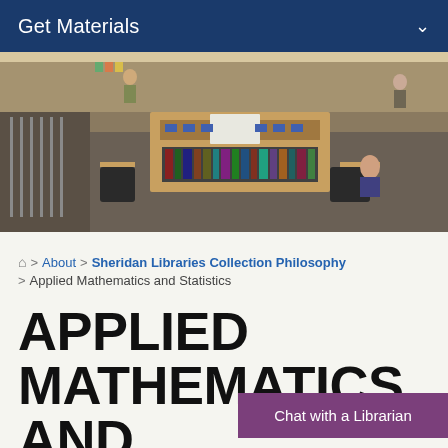Get Materials
[Figure (photo): Aerial view of a university library interior showing bookshelves, study tables, chairs, and people walking around.]
🏠 > About > Sheridan Libraries Collection Philosophy > Applied Mathematics and Statistics
APPLIED MATHEMATICS AND STATISTICS
Chat with a Librarian